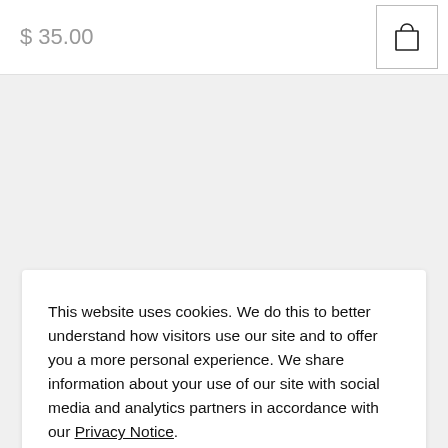$ 35.00
This website uses cookies. We do this to better understand how visitors use our site and to offer you a more personal experience. We share information about your use of our site with social media and analytics partners in accordance with our Privacy Notice.